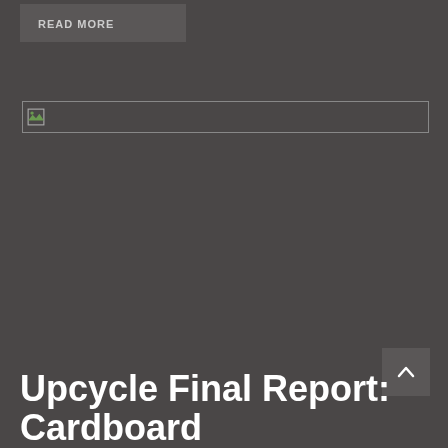READ MORE
[Figure (other): Broken/unloaded image placeholder shown as a thin rectangular box with a small broken image icon at the left]
[Figure (other): Scroll-to-top button with an upward-pointing chevron arrow]
Upcycle Final Report: Cardboard